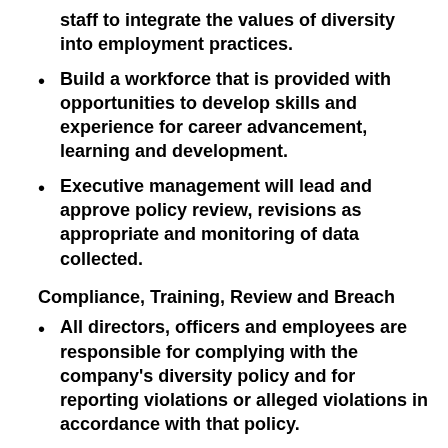staff to integrate the values of diversity into employment practices.
Build a workforce that is provided with opportunities to develop skills and experience for career advancement, learning and development.
Executive management will lead and approve policy review, revisions as appropriate and monitoring of data collected.
Compliance, Training, Review and Breach
All directors, officers and employees are responsible for complying with the company's diversity policy and for reporting violations or alleged violations in accordance with that policy.
Managers and staff will receive the resources, training and support necessary